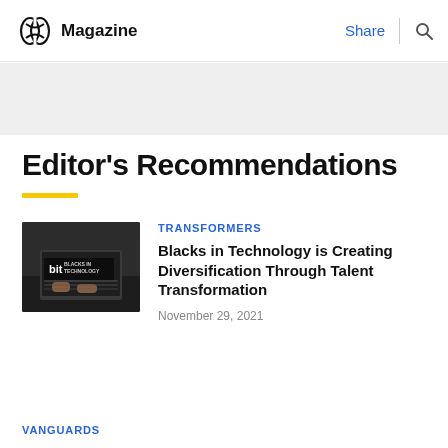Magazine | Share | Search
Editor's Recommendations
TRANSFORMERS
[Figure (photo): Photo of hands typing on a laptop with 'bit BLACKS IN TECHNOLOGY' logo overlay]
Blacks in Technology is Creating Diversification Through Talent Transformation
November 29, 2021
VANGUARDS